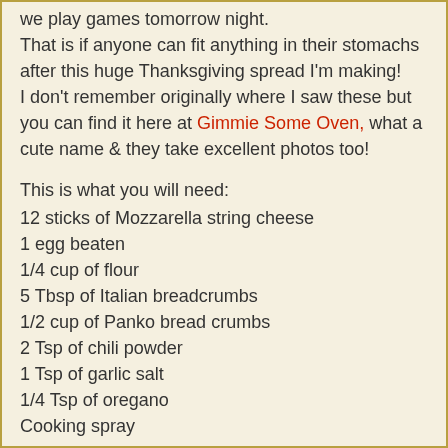we play games tomorrow night. That is if anyone can fit anything in their stomachs after this huge Thanksgiving spread I'm making! I don't remember originally where I saw these but you can find it here at Gimmie Some Oven, what a cute name & they take excellent photos too!
This is what you will need:
12 sticks of Mozzarella string cheese
1 egg beaten
1/4 cup of flour
5 Tbsp of Italian breadcrumbs
1/2 cup of Panko bread crumbs
2 Tsp of chili powder
1 Tsp of garlic salt
1/4 Tsp of oregano
Cooking spray
How to make them:
Unwrap the cheese sticks.
Cut them in half.
Place on a plate in freezer for one hour.
Preheat oven to 400 degrees.